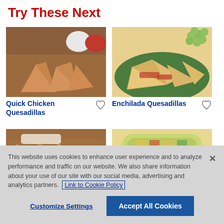Try These Next
[Figure (photo): Photo of Quick Chicken Quesadillas — triangular quesadilla slices on a wooden board with dipping sauces in background]
Quick Chicken Quesadillas
[Figure (photo): Photo of Enchilada Quesadillas — quesadilla slices on a green plate with grapes in background]
Enchilada Quesadillas
[Figure (photo): Partial photo of a third recipe card — appears to be a quesadilla or wrap on a wooden surface]
[Figure (photo): Partial photo of a fourth recipe card — appears to be a vegetable wrap on a yellow background]
This website uses cookies to enhance user experience and to analyze performance and traffic on our website. We also share information about your use of our site with our social media, advertising and analytics partners. Link to Cookie Policy
Customize Settings
Accept All Cookies